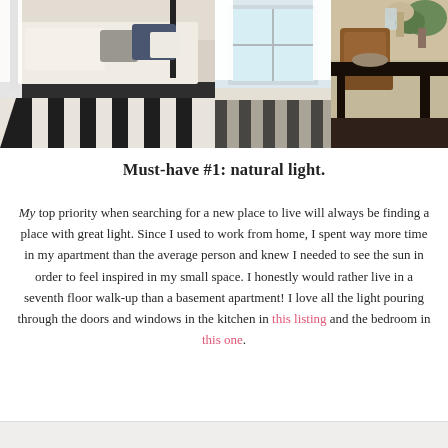[Figure (photo): Interior room photo showing a bed with white canopy curtains and blue/gray pillows on the left, a bright glass door/window in the center with white curtains, and a brown leather chair with a dark wood table and plant on the right. A black and white geometric striped rug runs across the floor.]
Must-have #1: natural light.
My top priority when searching for a new place to live will always be finding a place with great light. Since I used to work from home, I spent way more time in my apartment than the average person and knew I needed to see the sun in order to feel inspired in my small space. I honestly would rather live in a seventh floor walk-up than a basement apartment! I love all the light pouring through the doors and windows in the kitchen in this listing and the bedroom in this one.